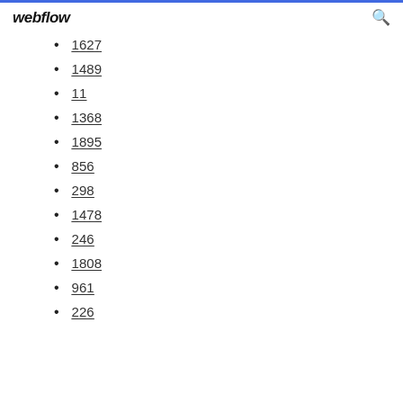webflow
1627
1489
11
1368
1895
856
298
1478
246
1808
961
226